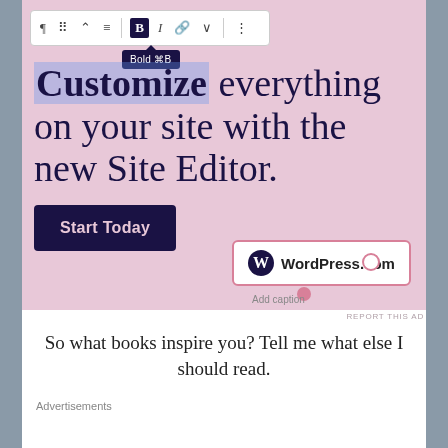[Figure (screenshot): WordPress.com advertisement screenshot showing a text editor toolbar with bold tooltip, pink background, headline reading 'Customize everything on your site with the new Site Editor.', a 'Start Today' button, and the WordPress.com logo badge with resize handles.]
So what books inspire you? Tell me what else I should read.
Advertisements
[Figure (screenshot): Pocket Casts advertisement with logo and 'DOWNLOAD NOW' call to action, headline 'Your next favorite podcast is here.']